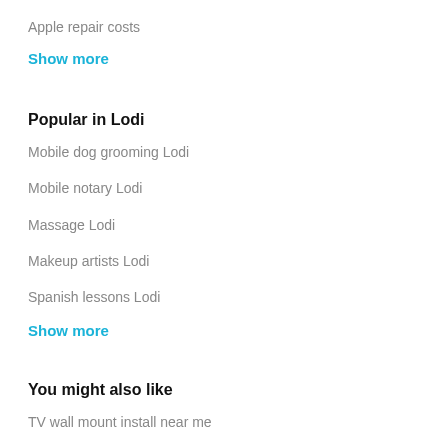Apple repair costs
Show more
Popular in Lodi
Mobile dog grooming Lodi
Mobile notary Lodi
Massage Lodi
Makeup artists Lodi
Spanish lessons Lodi
Show more
You might also like
TV wall mount install near me
TV repair near me
TV installers near me
TV setup services near me